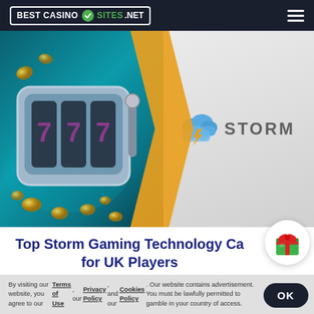BEST CASINO SITES.NET
[Figure (illustration): Hero banner showing a slot machine with 777 on the left (teal/dark background with coins) and Storm Gaming Technology logo on the right (grey gradient background). Orange diamond shape divides the two halves.]
Top Storm Gaming Technology Ca... for UK Players
[Figure (illustration): Green gift box icon with red ribbon in a white circular button]
By visiting our website, you agree to our Terms of Use, our Privacy Policy, and our Cookies Policy. Our website contains advertisement. You must be lawfully permitted to gamble in your country of access.